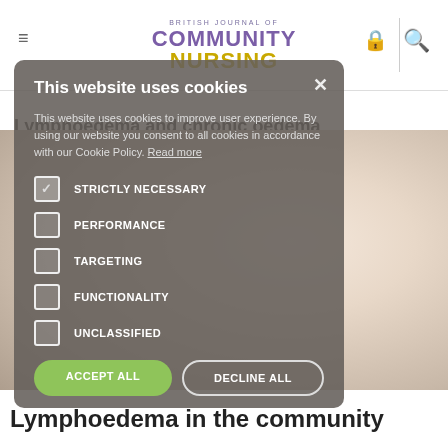BRITISH JOURNAL OF COMMUNITY NURSING
Lymphoedema and chronic oedema
[Figure (photo): Medical photo showing bandaging of a patient's leg/limb, community nursing context]
This website uses cookies
This website uses cookies to improve user experience. By using our website you consent to all cookies in accordance with our Cookie Policy. Read more
STRICTLY NECESSARY
PERFORMANCE
TARGETING
FUNCTIONALITY
UNCLASSIFIED
ACCEPT ALL
DECLINE ALL
SHOW DETAILS
Lymphoedema in the community